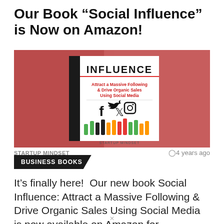Our Book “Social Influence” is Now on Amazon!
[Figure (photo): Book cover for 'Social Influence: Attract a Massive Following & Drive Organic Sales Using Social Media' by Startup Mindset, shown against a red-tinted background with social media icons (Facebook, Twitter, Instagram) and colorful raised hands at the bottom.]
STARTUP MINDSET
␢4 years ago
BUSINESS BOOKS
It’s finally here!  Our new book Social Influence: Attract a Massive Following & Drive Organic Sales Using Social Media is now available on Amazon for paperback or Kindle!